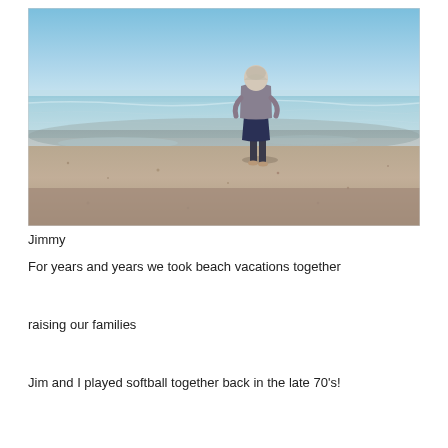[Figure (photo): A person standing on a wide sandy beach facing the ocean, hands on hips, viewed from behind. Clear blue sky and calm water in the background.]
Jimmy
For years and years we took beach vacations together
raising our families
Jim and I played softball together back in the late 70's!